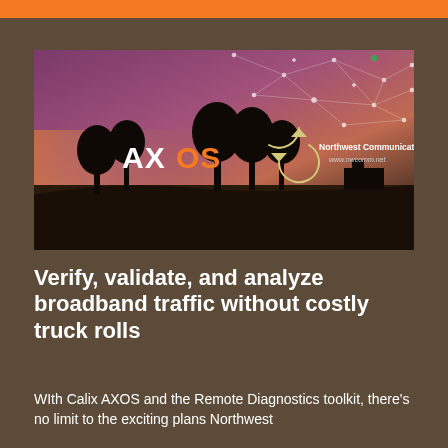[Figure (photo): AXOS and Northwest Communications branded image showing a rural landscape at sunset/dusk with silhouetted trees against a purple-pink sky and a network connectivity graphic overlay in the upper right. Text overlays include 'AXOS' logo with orange 'OS' and 'Northwest Communications www.nwcomm.net' with a circular arrow logo.]
Verify, validate, and analyze broadband traffic without costly truck rolls
WIth Calix AXOS and the Remote Diagnostics toolkit, there's no limit to the exciting plans Northwest